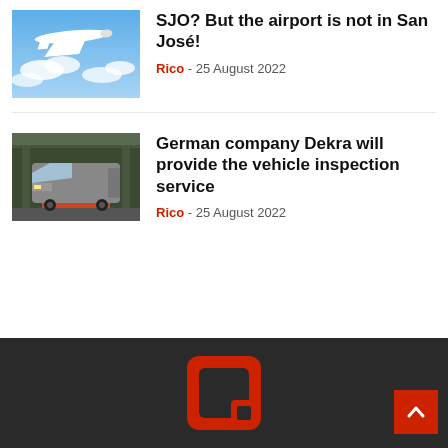SJO? But the airport is not in San José!
Rico - 25 August 2022
[Figure (photo): Airplane flying above clouds in a blue sky]
German company Dekra will provide the vehicle inspection service
Rico - 25 August 2022
[Figure (photo): Vehicle inspection garage with a truck/SUV on a lift]
[Figure (logo): Red Q-shaped logo on dark background in footer]